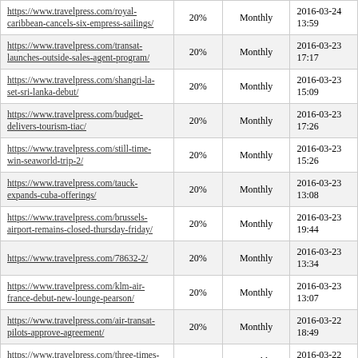| URL | Change Frequency | Priority | Last Modified |
| --- | --- | --- | --- |
| https://www.travelpress.com/royal-caribbean-cancels-six-empress-sailings/ | 20% | Monthly | 2016-03-24 13:59 |
| https://www.travelpress.com/transat-launches-outside-sales-agent-program/ | 20% | Monthly | 2016-03-23 17:17 |
| https://www.travelpress.com/shangri-la-set-sri-lanka-debut/ | 20% | Monthly | 2016-03-23 15:09 |
| https://www.travelpress.com/budget-delivers-tourism-tiac/ | 20% | Monthly | 2016-03-23 17:26 |
| https://www.travelpress.com/still-time-win-seaworld-trip-2/ | 20% | Monthly | 2016-03-23 15:26 |
| https://www.travelpress.com/tauck-expands-cuba-offerings/ | 20% | Monthly | 2016-03-23 13:08 |
| https://www.travelpress.com/brussels-airport-remains-closed-thursday-friday/ | 20% | Monthly | 2016-03-23 19:44 |
| https://www.travelpress.com/78632-2/ | 20% | Monthly | 2016-03-23 13:34 |
| https://www.travelpress.com/klm-air-france-debut-new-lounge-pearson/ | 20% | Monthly | 2016-03-23 13:07 |
| https://www.travelpress.com/air-transat-pilots-approve-agreement/ | 20% | Monthly | 2016-03-22 18:49 |
| https://www.travelpress.com/three-times-magic-disney-travelbrands/ | 20% | Monthly | 2016-03-22 13:34 |
| https://www.travelpress.com/contiki-hosting-open-age-european-agent-fam/ | 20% | Monthly | 2016-03-22 17:48 |